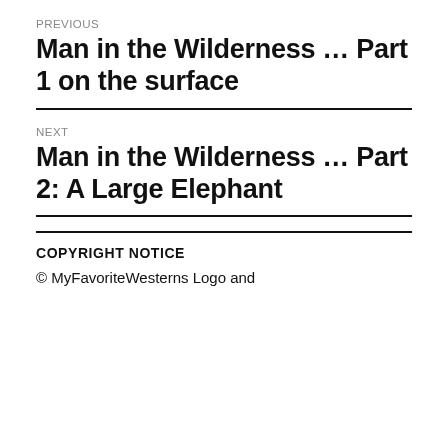PREVIOUS
Man in the Wilderness … Part 1 on the surface
NEXT
Man in the Wilderness … Part 2: A Large Elephant
COPYRIGHT NOTICE
© MyFavoriteWesterns Logo and